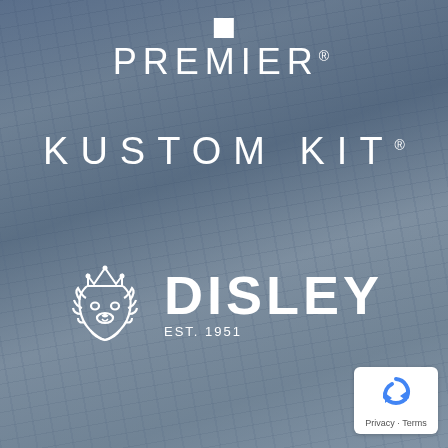[Figure (logo): Premier logo with white square icon above text 'PREMIER' with registered trademark symbol on blue-grey rocky background]
[Figure (logo): KUSTOM KIT registered trademark text logo in wide-spaced white letters]
[Figure (logo): Disley EST. 1951 logo with lion head wearing crown icon in white outline, accompanied by bold DISLEY text]
[Figure (logo): Google reCAPTCHA badge in bottom-right corner with Privacy and Terms text]